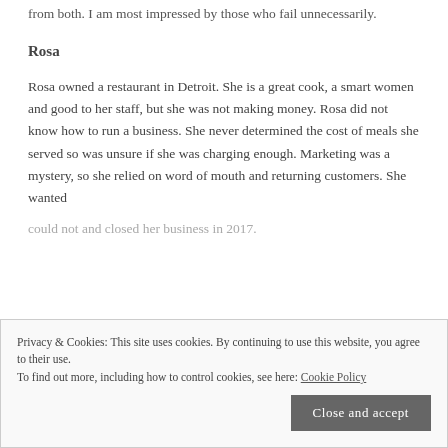from both. I am most impressed by those who fail unnecessarily.
Rosa
Rosa owned a restaurant in Detroit. She is a great cook, a smart women and good to her staff, but she was not making money. Rosa did not know how to run a business. She never determined the cost of meals she served so was unsure if she was charging enough. Marketing was a mystery, so she relied on word of mouth and returning customers. She wanted
Privacy & Cookies: This site uses cookies. By continuing to use this website, you agree to their use.
To find out more, including how to control cookies, see here: Cookie Policy
could not and closed her business in 2017.